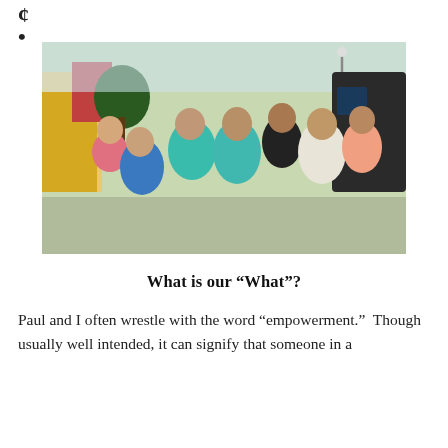¢
•
[Figure (photo): Group photo of seven people smiling together outdoors, near a van, in a residential area with trees and buildings in the background.]
What is our “What”?
Paul and I often wrestle with the word “empowerment.”  Though usually well intended, it can signify that someone in a